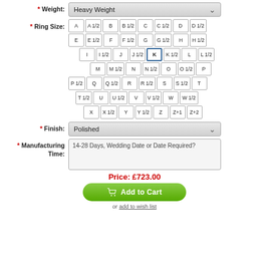Weight: Heavy Weight
Ring Size: A A1/2 B B1/2 C C1/2 D D1/2 E E1/2 F F1/2 G G1/2 H H1/2 I I1/2 J J1/2 K (selected) K1/2 L L1/2 M M1/2 N N1/2 O O1/2 P P1/2 Q Q1/2 R R1/2 S S1/2 T T1/2 U U1/2 V V1/2 W W1/2 X X1/2 Y Y1/2 Z Z+1 Z+2
Finish: Polished
Manufacturing Time: 14-28 Days, Wedding Date or Date Required?
Price: £723.00
Add to Cart
or add to wish list